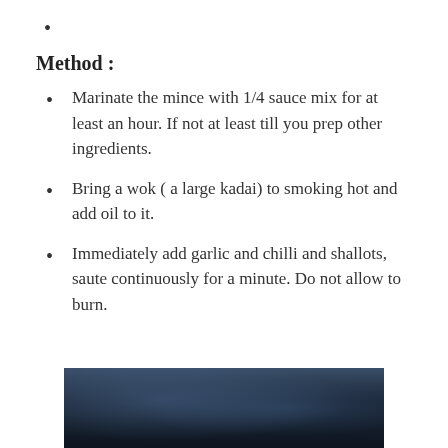•
Method :
Marinate the mince with 1/4 sauce mix for at least an hour. If not at least till you prep other ingredients.
Bring a wok ( a large kadai) to smoking hot and add oil to it.
Immediately add garlic and chilli and shallots, saute continuously for a minute. Do not allow to burn.
[Figure (photo): Dark moody food photography image showing a wok or cooking vessel with steam/smoke, dark blue-grey tones]